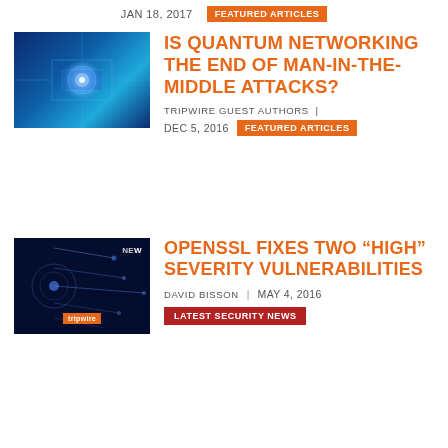JAN 18, 2017  FEATURED ARTICLES
[Figure (photo): Glowing blue digital circuit board chip with light effects on dark background]
IS QUANTUM NETWORKING THE END OF MAN-IN-THE-MIDDLE ATTACKS?
TRIPWIRE GUEST AUTHORS  |  DEC 5, 2016  FEATURED ARTICLES
[Figure (photo): Blue network connectivity lines on dark background with Tripwire branding and NEWS label]
OPENSSL FIXES TWO “HIGH” SEVERITY VULNERABILITIES
DAVID BISSON  |  MAY 4, 2016  LATEST SECURITY NEWS